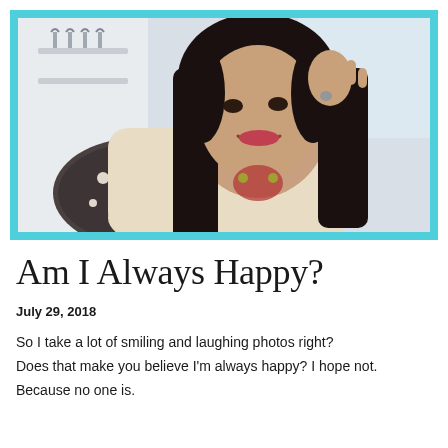[Figure (photo): A young woman with long dark hair smiling, hand raised near her face, sitting near a patterned cushion in a bright interior setting. Photo has a cyan/turquoise border frame.]
Am I Always Happy?
July 29, 2018
So I take a lot of smiling and laughing photos right? Does that make you believe I'm always happy? I hope not. Because no one is.